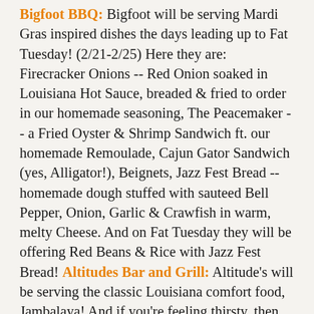Bigfoot BBQ: Bigfoot will be serving Mardi Gras inspired dishes the days leading up to Fat Tuesday! (2/21-2/25) Here they are: Firecracker Onions -- Red Onion soaked in Louisiana Hot Sauce, breaded & fried to order in our homemade seasoning, The Peacemaker -- a Fried Oyster & Shrimp Sandwich ft. our homemade Remoulade, Cajun Gator Sandwich (yes, Alligator!), Beignets, Jazz Fest Bread -- homemade dough stuffed with sauteed Bell Pepper, Onion, Garlic & Crawfish in warm, melty Cheese. And on Fat Tuesday they will be offering Red Beans & Rice with Jazz Fest Bread! Altitudes Bar and Grill: Altitude's will be serving the classic Louisiana comfort food, Jambalaya! And if you're feeling thirsty, then order a Hurricane as well! Plus, spend $25 and